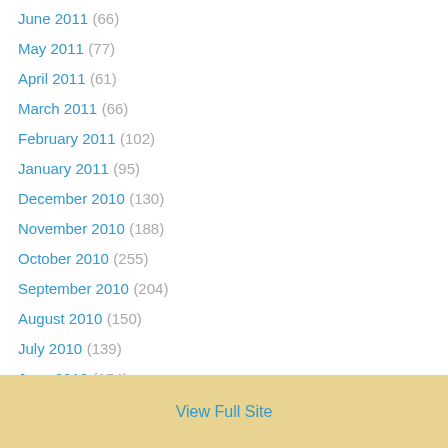June 2011 (66)
May 2011 (77)
April 2011 (61)
March 2011 (66)
February 2011 (102)
January 2011 (95)
December 2010 (130)
November 2010 (188)
October 2010 (255)
September 2010 (204)
August 2010 (150)
July 2010 (139)
June 2010 (154)
May 2010 (140)
April 2010 (98)
March 2010 (424)
View Full Site